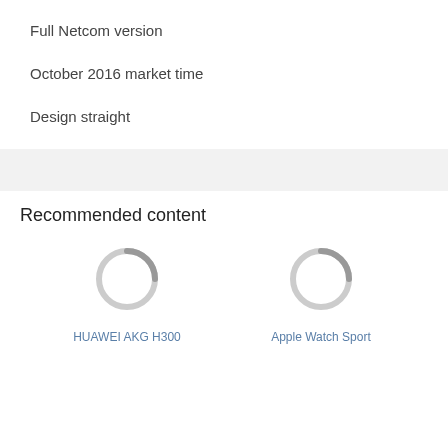Full Netcom version
October 2016 market time
Design straight
Recommended content
[Figure (illustration): Loading spinner circle icon for HUAWEI AKG H300 product]
HUAWEI AKG H300
[Figure (illustration): Loading spinner circle icon for Apple Watch Sport product]
Apple Watch Sport